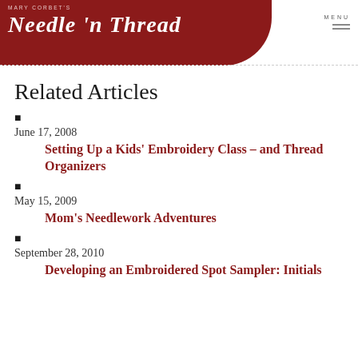Mary Corbett's Needle 'n Thread
Related Articles
June 17, 2008 — Setting Up a Kids' Embroidery Class – and Thread Organizers
May 15, 2009 — Mom's Needlework Adventures
September 28, 2010 — Developing an Embroidered Spot Sampler: Initials